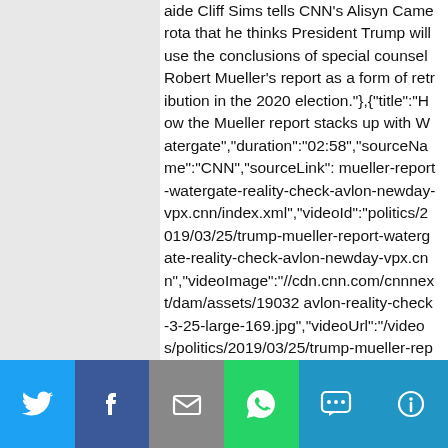aide Cliff Sims tells CNN's Alisyn Camerota that he thinks President Trump will use the conclusions of special counsel Robert Mueller's report as a form of retribution in the 2020 election."},{"title":"How the Mueller report stacks up with Watergate","duration":"02:58","sourceName":"CNN","sourceLink": mueller-report-watergate-reality-check-avlon-newday-vpx.cnn/index.xml","videoId":"politics/2019/03/25/trump-mueller-report-watergate-reality-check-avlon-newday-vpx.cnn","videoImage":"//cdn.cnn.com/cnnnext/dam/assets/19032 avlon-reality-check-3-25-large-169.jpg","videoUrl":"/videos/politics/2019/03/25/trump-mueller-report-watergate-reality-check-avlon-newday-vpx.cnn/video/playlists/this-week-in-politics/","description":"CNN's John Avlon compares the special counsel Robert Mueller's report to previous presidential investigations and what the conclusions of the report mean for President Trump
[Figure (infographic): Social media sharing bar with Twitter, Facebook, Email, WhatsApp, SMS, and More buttons]